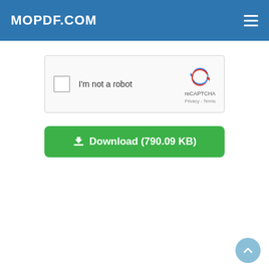MOPDF.COM
[Figure (screenshot): reCAPTCHA widget with checkbox labeled 'I'm not a robot' and reCAPTCHA logo on the right showing 'reCAPTCHA Privacy - Terms']
⬇ Download (790.09 KB)
[Figure (other): Scroll-to-top circular button with upward chevron arrow]